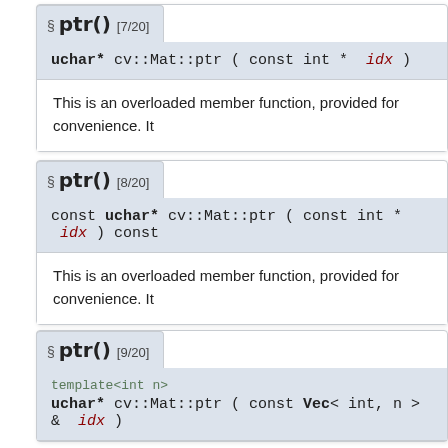§ ptr() [7/20]
uchar* cv::Mat::ptr ( const int * idx )
This is an overloaded member function, provided for convenience. It
§ ptr() [8/20]
const uchar* cv::Mat::ptr ( const int * idx ) const
This is an overloaded member function, provided for convenience. It
§ ptr() [9/20]
template<int n>
uchar* cv::Mat::ptr ( const Vec< int, n > & idx )